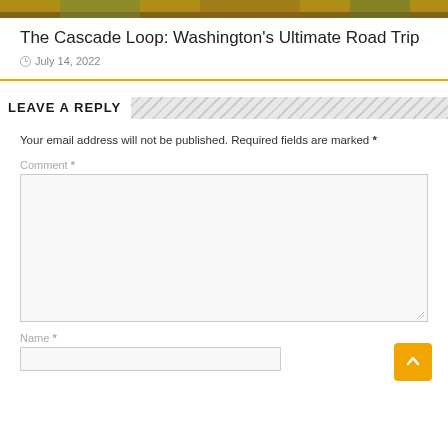[Figure (photo): Partial top strip of a scenic photo, appears to show a colorful outdoor/travel scene]
The Cascade Loop: Washington's Ultimate Road Trip
July 14, 2022
LEAVE A REPLY
Your email address will not be published. Required fields are marked *
Comment *
Name *